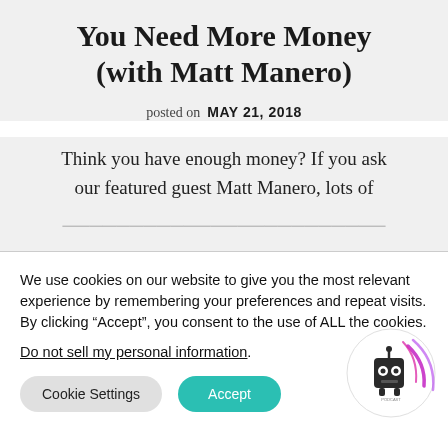You Need More Money (with Matt Manero)
posted on MAY 21, 2018
Think you have enough money? If you ask our featured guest Matt Manero, lots of
We use cookies on our website to give you the most relevant experience by remembering your preferences and repeat visits. By clicking “Accept”, you consent to the use of ALL the cookies.
Do not sell my personal information.
[Figure (illustration): Robot podcast icon with circular colorful signal waves in purple and pink on a white circle background]
Cookie Settings   Accept